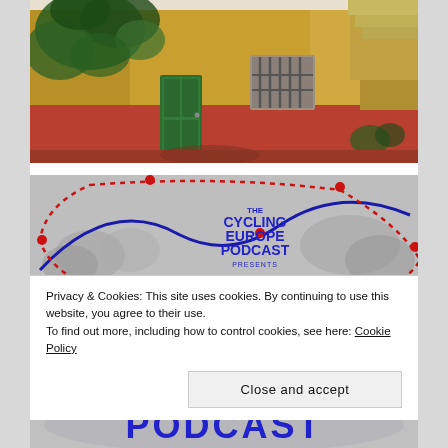[Figure (photo): Photo of a colorful Mediterranean-style building facade with yellow upper walls, red/orange lower walls, green door, and climbing plants/ivy. Barred window visible.]
[Figure (logo): The Cycling Europe Podcast presents Le Grand logo/graphic. Blue route line with red dotted path on blurred background of motorcycles/street. Text reads 'THE CYCLING EUROPE PODCAST PRESENTS' in blue, and 'Le Grand' in red large letters.]
Privacy & Cookies: This site uses cookies. By continuing to use this website, you agree to their use.
To find out more, including how to control cookies, see here: Cookie Policy
[Figure (screenshot): Partial view of podcast logo bottom section showing 'PODCAST' text in blue letters.]